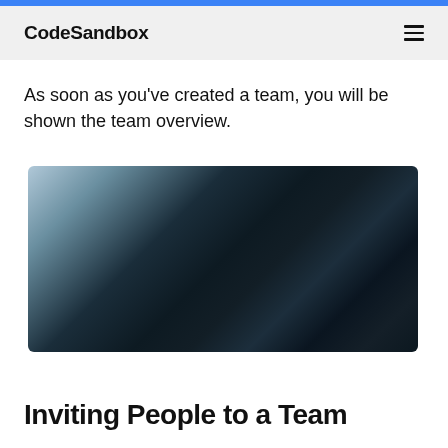CodeSandbox
As soon as you've created a team, you will be shown the team overview.
[Figure (screenshot): A blurred or darkened screenshot of a CodeSandbox team overview interface, showing a dark UI with some lighter area on the left side.]
Inviting People to a Team